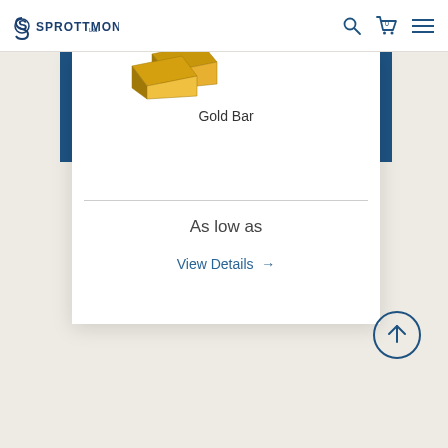SPROTT MONEY
Gold Bar
As low as
View Details →